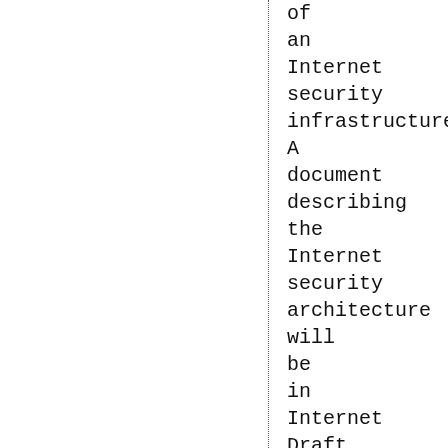of an Internet security infrastructure. A document describing the Internet security architecture will be in Internet Draft form by the end of 1993. It contains 100